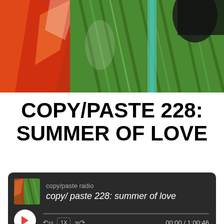[Figure (photo): Colorful photo of tropical/banana leaves in green tones with red/orange colored panels or reflections on the left side, and a dark figure partially visible at the upper right.]
COPY/PASTE 228: SUMMER OF LOVE
[Figure (screenshot): Audio player widget with dark background. Shows album thumbnail (copy/paste radio), show name 'copy/paste radio', episode title 'copy/paste 228: summer of love', a white circular play button, a skip-back-10 button, a 1X speed button, a skip-forward-30 button, a progress bar, and time display '00:00 / 1:00:46'.]